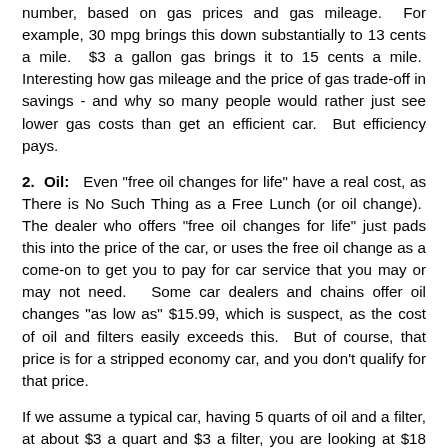number, based on gas prices and gas mileage. For example, 30 mpg brings this down substantially to 13 cents a mile. $3 a gallon gas brings it to 15 cents a mile. Interesting how gas mileage and the price of gas trade-off in savings - and why so many people would rather just see lower gas costs than get an efficient car. But efficiency pays.
2. Oil: Even "free oil changes for life" have a real cost, as There is No Such Thing as a Free Lunch (or oil change). The dealer who offers "free oil changes for life" just pads this into the price of the car, or uses the free oil change as a come-on to get you to pay for car service that you may or may not need. Some car dealers and chains offer oil changes "as low as" $15.99, which is suspect, as the cost of oil and filters easily exceeds this. But of course, that price is for a stripped economy car, and you don't qualify for that price.
If we assume a typical car, having 5 quarts of oil and a filter, at about $3 a quart and $3 a filter, you are looking at $18 just in costs. A more realistic price would be $30 or so, with many cars running $50 to $100, particularly for synthetic oils